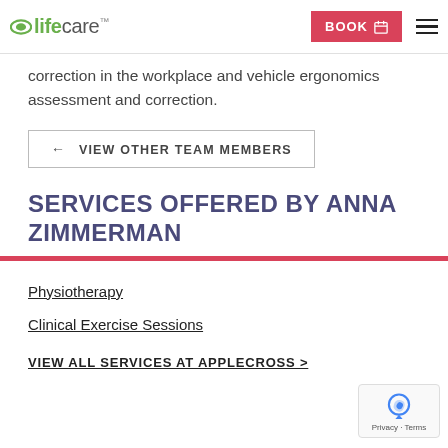lifecare™  BOOK  ☰
correction in the workplace and vehicle ergonomics assessment and correction.
← VIEW OTHER TEAM MEMBERS
SERVICES OFFERED BY ANNA ZIMMERMAN
Physiotherapy
Clinical Exercise Sessions
VIEW ALL SERVICES AT APPLECROSS >